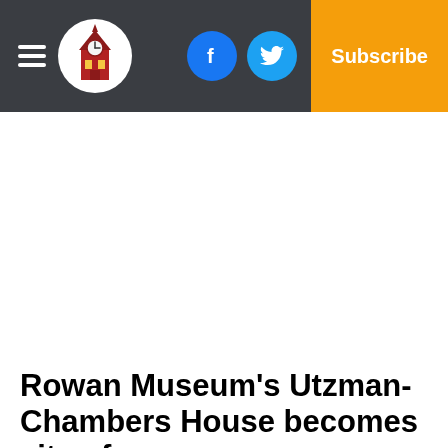Rowan County News — Navigation bar with hamburger menu, logo, Facebook, Twitter, Subscribe
Rowan Museum's Utzman-Chambers House becomes site of